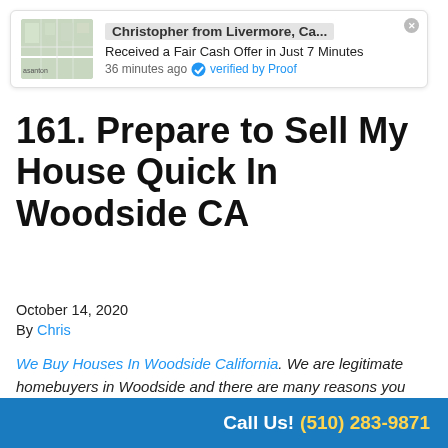[Figure (screenshot): Notification widget showing Christopher from Livermore, Ca... received a Fair Cash Offer in Just 7 Minutes, 36 minutes ago, verified by Proof, with a map thumbnail]
161. Prepare to Sell My House Quick In Woodside CA
October 14, 2020
By Chris
We Buy Houses In Woodside California. We are legitimate homebuyers in Woodside and there are many reasons you might want to sell your home quickly: relocations, financial hardships, or even medical issues. It really doesn't matter what the...
Call Us! (510) 283-9871